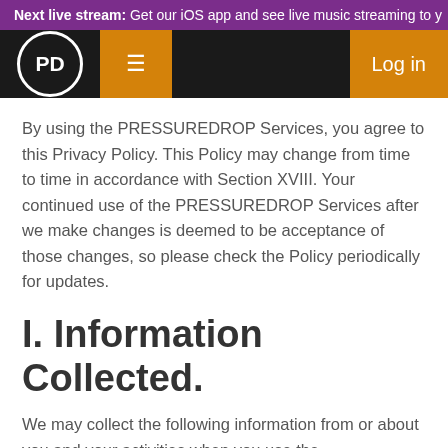Next live stream: Get our iOS app and see live music streaming to y
By using the PRESSUREDROP Services, you agree to this Privacy Policy. This Policy may change from time to time in accordance with Section XVIII. Your continued use of the PRESSUREDROP Services after we make changes is deemed to be acceptance of those changes, so please check the Policy periodically for updates.
I. Information Collected.
We may collect the following information from or about you and your activities when you use the PRESSUREDROP Services: information you give us, including your name, email address, birth date, gender and information automatically collected when you use the PRESSUREDROP Services, such as your location, your activity on the PRESSUREDROP Services, information about